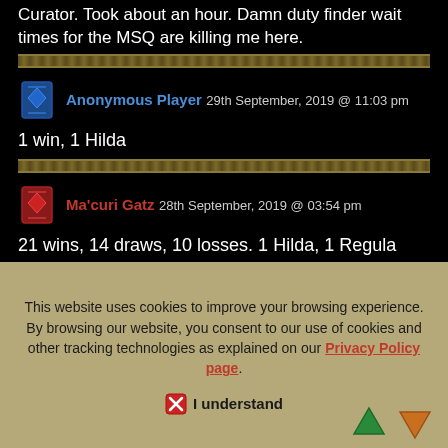Curator. Took about an hour. Damn duty finder wait times for the MSQ are killing me here.
Anonymous Player 29th September, 2019 @ 11:03 pm
1 win, 1 Hilda
Ma'curi Gatz 28th September, 2019 @ 03:54 pm
21 wins, 14 draws, 10 losses. 1 Hilda, 1 Regula
This website uses cookies to improve your browsing experience. By browsing our website, you consent to our use of cookies and other tracking technologies as explained on our Privacy Policy page.
I understand